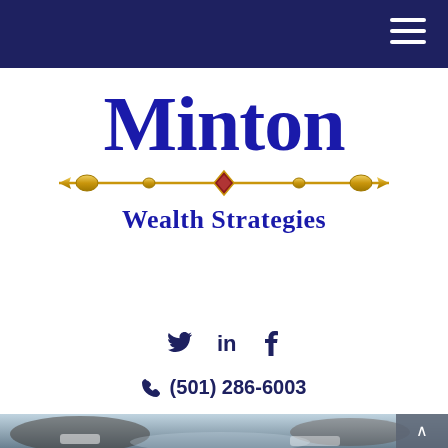Minton Wealth Strategies — navigation bar
[Figure (logo): Minton Wealth Strategies logo: large dark blue serif 'Minton' text, gold decorative horizontal rule with diamond center ornament, dark blue bold 'Wealth Strategies' subtitle]
Twitter LinkedIn Facebook social media icons
(501) 286-6003
[Figure (photo): Blurred photo of hands holding puzzle pieces on a light blue background, with a scroll-to-top button (dark gray with upward arrow) in the bottom right corner]